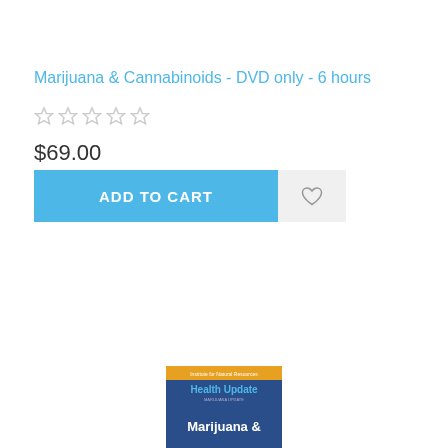Marijuana & Cannabinoids - DVD only - 6 hours
$69.00
[Figure (screenshot): Product image showing a Health Update book cover with 'Institute for Natural Resources' and 'Marijuana &' visible text on blue/gold background]